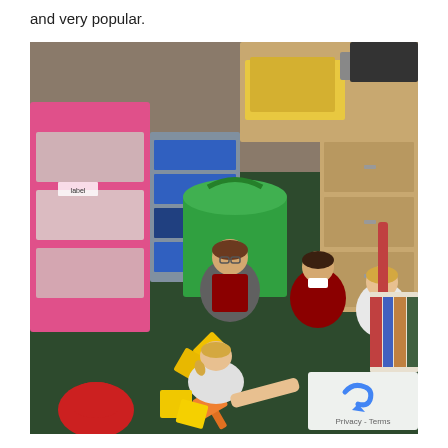and very popular.
[Figure (photo): Primary school children in red uniforms sitting on a classroom floor playing a game with yellow cards and a flyswatter. Storage drawers, desks, and classroom supplies visible in the background.]